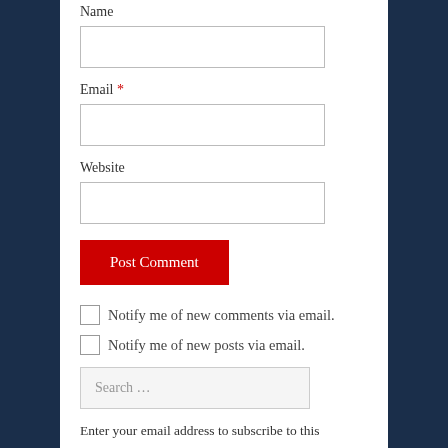Name
Email *
Website
Post Comment
Notify me of new comments via email.
Notify me of new posts via email.
Search ...
Enter your email address to subscribe to this